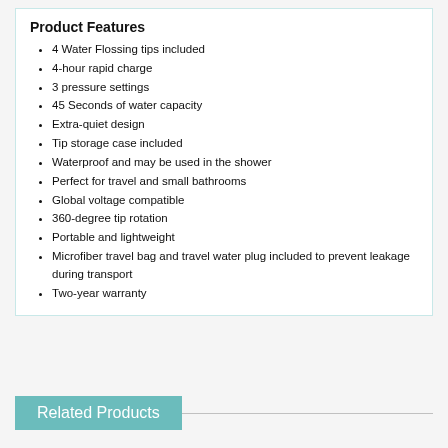Product Features
4 Water Flossing tips included
4-hour rapid charge
3 pressure settings
45 Seconds of water capacity
Extra-quiet design
Tip storage case included
Waterproof and may be used in the shower
Perfect for travel and small bathrooms
Global voltage compatible
360-degree tip rotation
Portable and lightweight
Microfiber travel bag and travel water plug included to prevent leakage during transport
Two-year warranty
Related Products